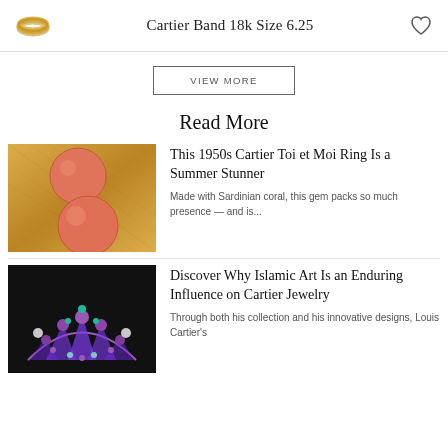Cartier Band 18k Size 6.25
VIEW MORE
Read More
[Figure (photo): Close-up photo of a gold and coral Cartier ring with two large round salmon-colored coral cabochons set in textured yellow gold.]
This 1950s Cartier Toi et Moi Ring Is a Summer Stunner
Made with Sardinian coral, this gem packs so much presence — and is...
[Figure (photo): Photo of an ornate necklace with purple amethyst and turquoise stones in a fan-like pattern on a black background.]
Discover Why Islamic Art Is an Enduring Influence on Cartier Jewelry
Through both his collection and his innovative designs, Louis Cartier's